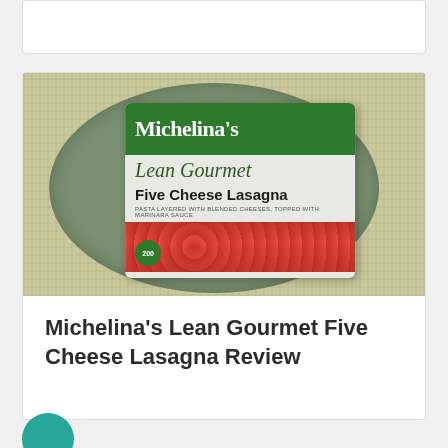[Figure (photo): Partial view of a white card partially visible at top of page]
[Figure (photo): Photo of a Michelina's Lean Gourmet Five Cheese Lasagna frozen meal package placed on a green plate on a woven placemat background]
Michelina’s Lean Gourmet Five Cheese Lasagna Review
[Figure (photo): Partial teal circle visible at bottom left of page]